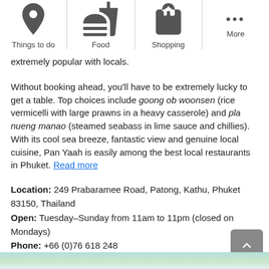Things to do | Food | Shopping | More
extremely popular with locals.
Without booking ahead, you'll have to be extremely lucky to get a table. Top choices include goong ob woonsen (rice vermicelli with large prawns in a heavy casserole) and pla nueng manao (steamed seabass in lime sauce and chillies). With its cool sea breeze, fantastic view and genuine local cuisine, Pan Yaah is easily among the best local restaurants in Phuket. Read more
Location: 249 Prabaramee Road, Patong, Kathu, Phuket 83150, Thailand
Open: Tuesday–Sunday from 11am to 11pm (closed on Mondays)
Phone: +66 (0)76 618 248
[Figure (map): Bottom strip of a map view]